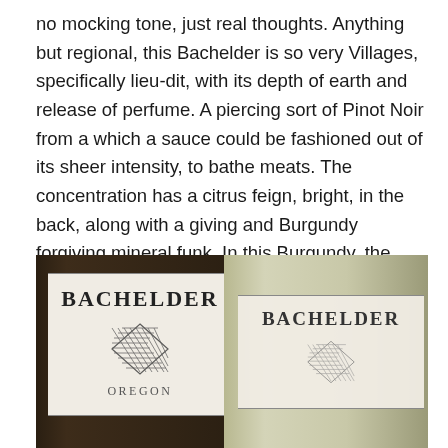no mocking tone, just real thoughts. Anything but regional, this Bachelder is so very Villages, specifically lieu-dit, with its depth of earth and release of perfume. A piercing sort of Pinot Noir from a which a sauce could be fashioned out of its sheer intensity, to bathe meats. The concentration has a citrus feign, bright, in the back, along with a giving and Burgundy forgiving mineral funk. In this Burgundy, the mountain lurks, in spirit torque. Will unwind for up to 10 years. Available at the SAQ in Quebec.  Tasted December 2014
[Figure (photo): Two Bachelder wine bottles side by side showing their labels. The left bottle is dark glass with a white label reading BACHELDER with a diamond geometric logo and OREGON below. The right bottle appears to be a lighter/green glass also showing the BACHELDER label with the same diamond logo.]